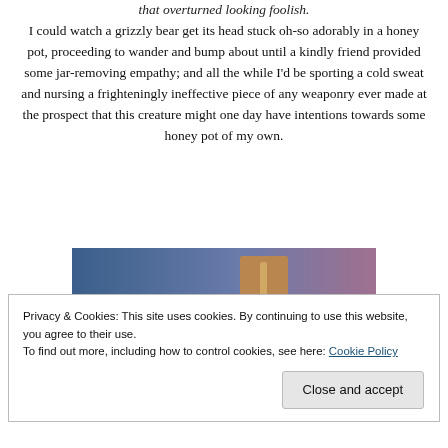that overturned looking foolish.
I could watch a grizzly bear get its head stuck oh-so adorably in a honey pot, proceeding to wander and bump about until a kindly friend provided some jar-removing empathy; and all the while I'd be sporting a cold sweat and nursing a frighteningly ineffective piece of any weaponry ever made at the prospect that this creature might one day have intentions towards some honey pot of my own.
[Figure (photo): Partial image showing a gradient background blending from blue on the left to purple/mauve on the right, with a brown rectangular object (possibly a honey pot or box) in the center.]
Privacy & Cookies: This site uses cookies. By continuing to use this website, you agree to their use. To find out more, including how to control cookies, see here: Cookie Policy
Close and accept